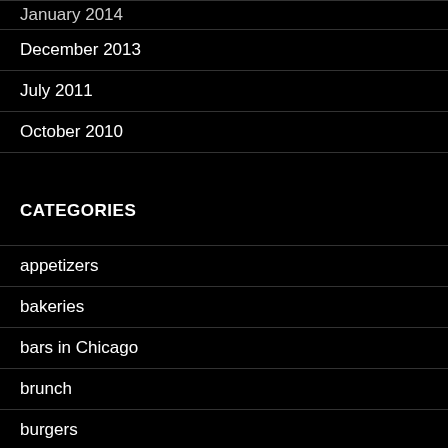January 2014
December 2013
July 2011
October 2010
CATEGORIES
appetizers
bakeries
bars in Chicago
brunch
burgers
carryout in Chicago